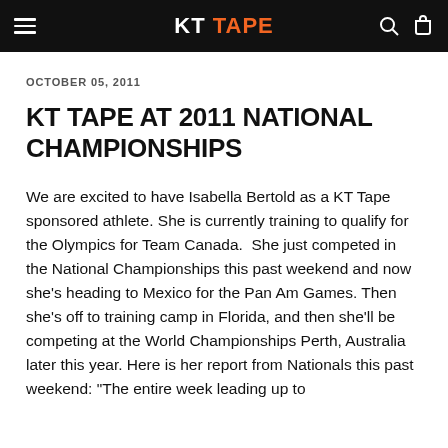KT TAPE
OCTOBER 05, 2011
KT TAPE AT 2011 NATIONAL CHAMPIONSHIPS
We are excited to have Isabella Bertold as a KT Tape sponsored athlete. She is currently training to qualify for the Olympics for Team Canada. She just competed in the National Championships this past weekend and now she's heading to Mexico for the Pan Am Games. Then she's off to training camp in Florida, and then she'll be competing at the World Championships Perth, Australia later this year. Here is her report from Nationals this past weekend: "The entire week leading up to